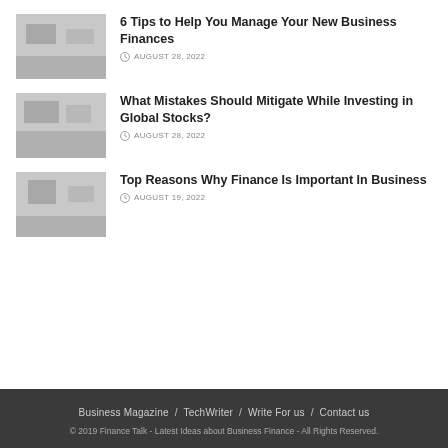[Figure (photo): Thumbnail image for article about managing new business finances]
6 Tips to Help You Manage Your New Business Finances
AUGUST 28, 2022
[Figure (photo): Thumbnail image for article about mistakes while investing in global stocks]
What Mistakes Should Mitigate While Investing in Global Stocks?
AUGUST 28, 2022
[Figure (photo): Thumbnail image for article about why finance is important in business]
Top Reasons Why Finance Is Important In Business
AUGUST 19, 2022
Business Magazine / TechWriter / Write For us / Contact us
© 2019 Finance Talk - Latest Ideas about Business Finance - All Rights Reserved.